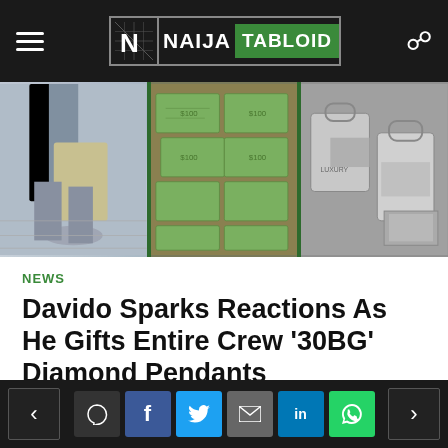Naija Tabloid
[Figure (photo): Three-panel image strip showing money/cash laid out and luxury items]
NEWS
Davido Sparks Reactions As He Gifts Entire Crew ‘30BG’ Diamond Pendants
6 hours ago   Add Comment
Nigerian singer, David Adeleke popularly called Davido has splashed millions of Naira on luxury gifts for his crew members known as 30BG. Naija News reports…
Navigation and social sharing buttons